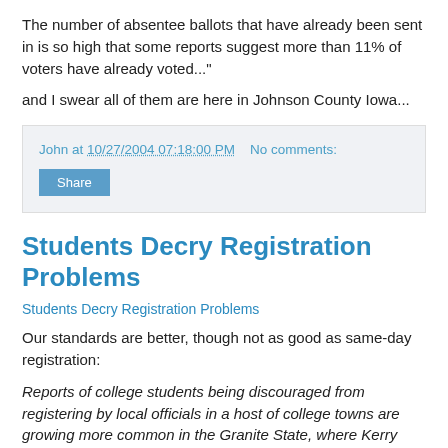The number of absentee ballots that have already been sent in is so high that some reports suggest more than 11% of voters have already voted..."
and I swear all of them are here in Johnson County Iowa...
John at 10/27/2004 07:18:00 PM   No comments:
Share
Students Decry Registration Problems
Students Decry Registration Problems
Our standards are better, though not as good as same-day registration:
Reports of college students being discouraged from registering by local officials in a host of college towns are growing more common in the Granite State, where Kerry and